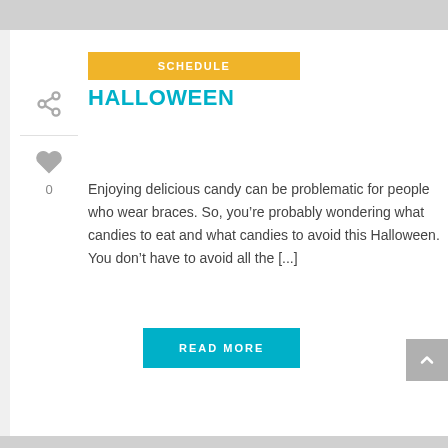[Figure (infographic): Yellow 'SCHEDULE' button overlapping the article title area]
CANDIES TO AVOID THIS HALLOWEEN
Enjoying delicious candy can be problematic for people who wear braces. So, you’re probably wondering what candies to eat and what candies to avoid this Halloween. You don’t have to avoid all the [...]
[Figure (other): Teal 'READ MORE' button]
[Figure (other): Gray scroll-to-top arrow button]